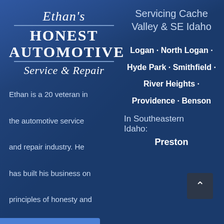Ethan's Honest Automotive Service & Repair
Ethan is a 20 veteran in the automotive service and repair industry. He has built his business on principles of honesty and integrity.
Servicing Cache Valley & SE Idaho
Logan · North Logan ·
Hyde Park · Smithfield ·
River Heights ·
Providence · Benson
In Southeastern Idaho:
Preston